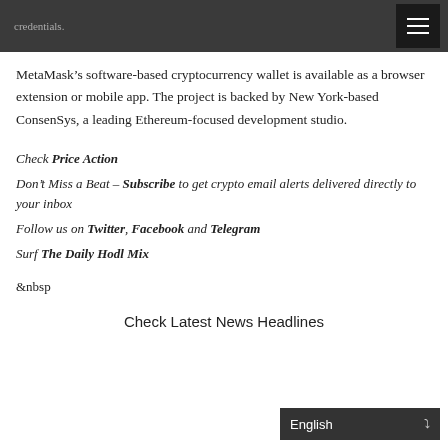credentials.
MetaMask’s software-based cryptocurrency wallet is available as a browser extension or mobile app. The project is backed by New York-based ConsenSys, a leading Ethereum-focused development studio.
Check Price Action
Don’t Miss a Beat – Subscribe to get crypto email alerts delivered directly to your inbox
Follow us on Twitter, Facebook and Telegram
Surf The Daily Hodl Mix
&nbsp
Check Latest News Headlines
English